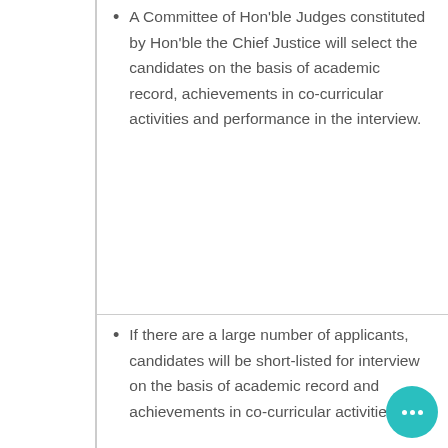A Committee of Hon'ble Judges constituted by Hon'ble the Chief Justice will select the candidates on the basis of academic record, achievements in co-curricular activities and performance in the interview.
If there are a large number of applicants, candidates will be short-listed for interview on the basis of academic record and achievements in co-curricular activities.
The applicants whose applications are in order shall be considered for calling for viva. (Candidates called for viva-voce will have to appear for the same at their own cost).